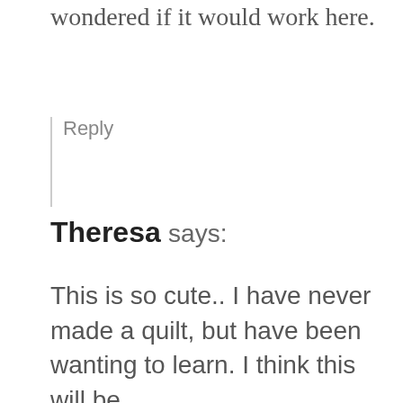wondered if it would work here.
Reply
Theresa says:
This is so cute.. I have never made a quilt, but have been wanting to learn. I think this will be a great one to start learning! Thanks so much for sharing!